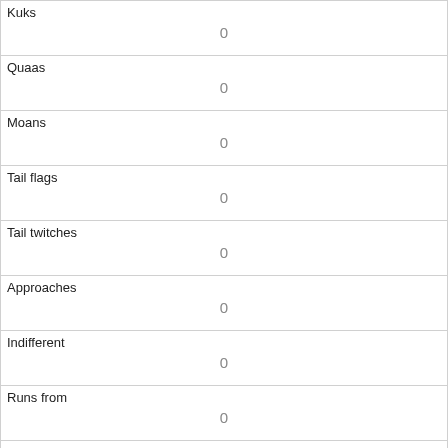| Kuks | 0 |
| Quaas | 0 |
| Moans | 0 |
| Tail flags | 0 |
| Tail twitches | 0 |
| Approaches | 0 |
| Indifferent | 0 |
| Runs from | 0 |
| Other Interactions |  |
| Lat/Long | POINT (-73.9565700386162 40.7902561000937) |